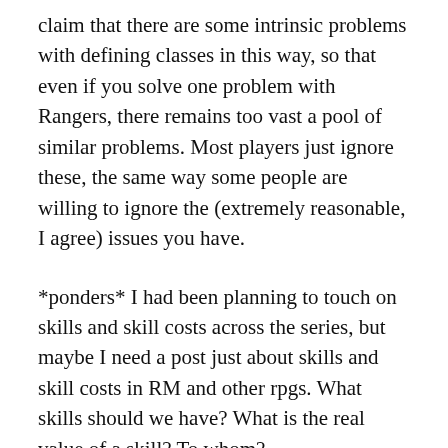claim that there are some intrinsic problems with defining classes in this way, so that even if you solve one problem with Rangers, there remains too vast a pool of similar problems. Most players just ignore these, the same way some people are willing to ignore the (extremely reasonable, I agree) issues you have.
*ponders* I had been planning to touch on skills and skill costs across the series, but maybe I need a post just about skills and skill costs in RM and other rpgs. What skills should we have? What is the real value of a skill? To whom?